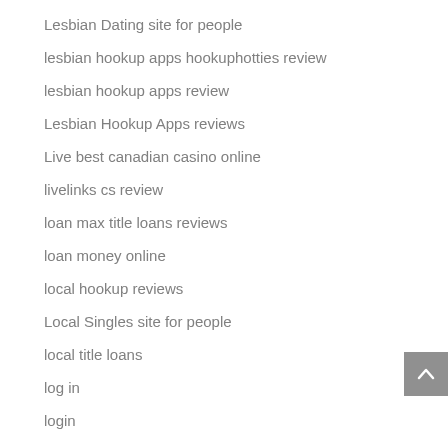Lesbian Dating site for people
lesbian hookup apps hookuphotties review
lesbian hookup apps review
Lesbian Hookup Apps reviews
Live best canadian casino online
livelinks cs review
loan max title loans reviews
loan money online
local hookup reviews
Local Singles site for people
local title loans
log in
login
lonelywifehookup daten
long term payday loans